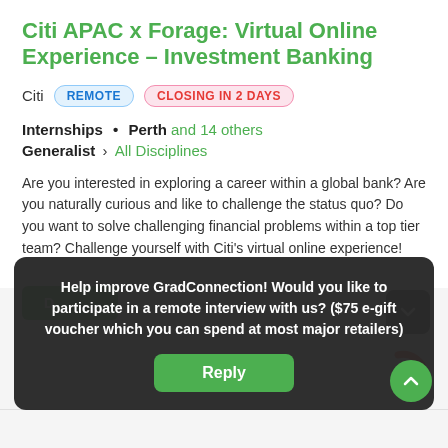Citi APAC x Forage: Virtual Online Experience – Investment Banking
Citi  REMOTE  CLOSING IN 2 DAYS
Internships • Perth and 14 others
Generalist › All Disciplines
Are you interested in exploring a career within a global bank? Are you naturally curious and like to challenge the status quo? Do you want to solve challenging financial problems within a top tier team? Challenge yourself with Citi's virtual online experience!
Help improve GradConnection! Would you like to participate in a remote interview with us? ($75 e-gift voucher which you can spend at most major retailers)
Reply